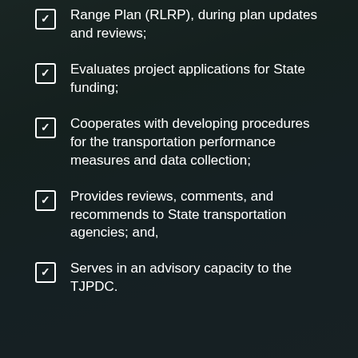Range Plan (RLRP), during plan updates and reviews;
Evaluates project applications for State funding;
Cooperates with developing procedures for the transportation performance measures and data collection;
Provides reviews, comments, and recommends to State transportation agencies; and,
Serves in an advisory capacity to the TJPDC.